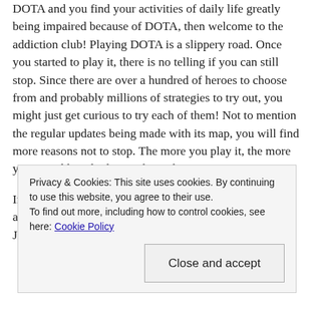DOTA and you find your activities of daily life greatly being impaired because of DOTA, then welcome to the addiction club! Playing DOTA is a slippery road. Once you started to play it, there is no telling if you can still stop. Since there are over a hundred of heroes to choose from and probably millions of strategies to try out, you might just get curious to try each of them! Not to mention the regular updates being made with its map, you will find more reasons not to stop. The more you play it, the more you get addicted; plain and simple.
In its basic form, playing DOTA is the same as being addicted to illegal drugs though it is not illegal to play it. Just you do not feel immediate...
Privacy & Cookies: This site uses cookies. By continuing to use this website, you agree to their use.
To find out more, including how to control cookies, see here: Cookie Policy
Close and accept